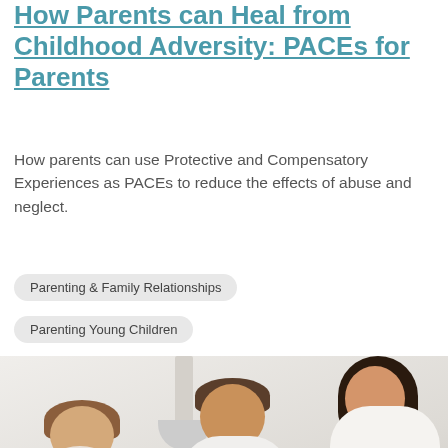How Parents can Heal from Childhood Adversity: PACEs for Parents
How parents can use Protective and Compensatory Experiences as PACEs to reduce the effects of abuse and neglect.
Parenting & Family Relationships
Parenting Young Children
[Figure (photo): A family scene with a curly-haired young child, a bearded man in white t-shirt, and a woman with dark hair breastfeeding a baby, sitting together in a bright white room with a pendant lamp]